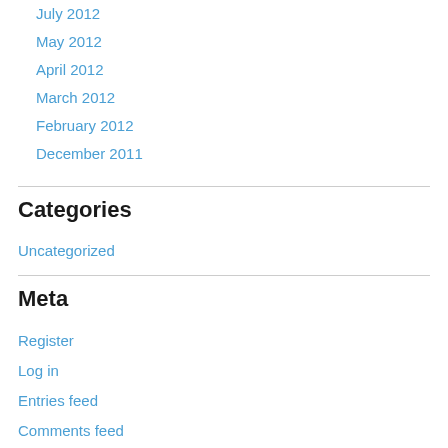July 2012
May 2012
April 2012
March 2012
February 2012
December 2011
Categories
Uncategorized
Meta
Register
Log in
Entries feed
Comments feed
WordPress.com